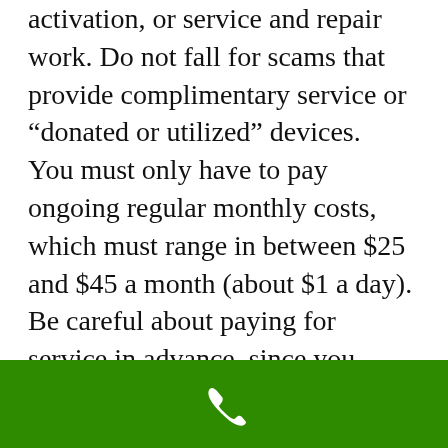activation, or service and repair work. Do not fall for scams that provide complimentary service or “donated or utilized” devices. You must only have to pay ongoing regular monthly costs, which must range in between $25 and $45 a month (about $1 a day). Be careful about paying for service in advance, since you never ever understand when you’ll require to stop the service temporarily (due to a hospitalization, for instance) or permanently
[Figure (other): Green footer bar with white phone/call icon]